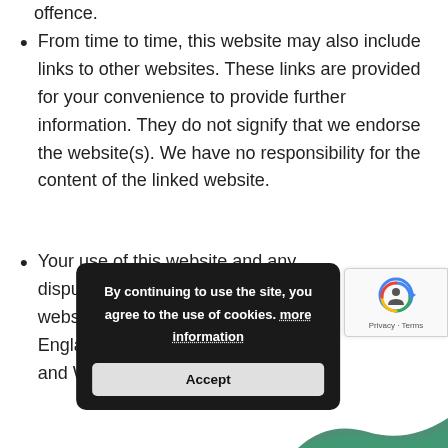offence.
From time to time, this website may also include links to other websites. These links are provided for your convenience to provide further information. They do not signify that we endorse the website(s). We have no responsibility for the content of the linked website.
Your use of this website and any dispute arising out of such use of the website is subject to the laws of England, Northern Ireland, Scotland and Wales.
By continuing to use the site, you agree to the use of cookies. more information
Accept
[Figure (other): reCAPTCHA widget showing robot icon with Privacy and Terms links]